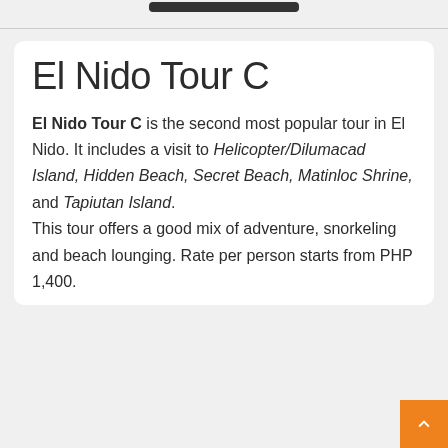El Nido Tour C
El Nido Tour C is the second most popular tour in El Nido. It includes a visit to Helicopter/Dilumacad Island, Hidden Beach, Secret Beach, Matinloc Shrine, and Tapiutan Island. This tour offers a good mix of adventure, snorkeling and beach lounging. Rate per person starts from PHP 1,400.